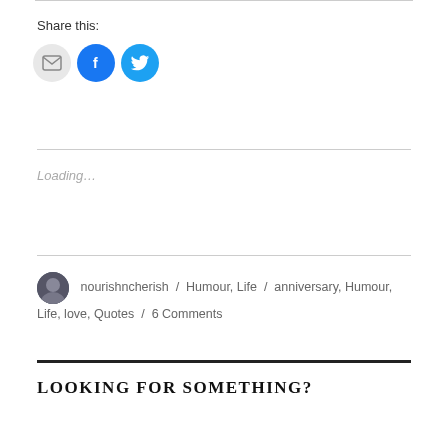Share this:
[Figure (illustration): Three social share icon buttons: email (grey circle with envelope), Facebook (blue circle with f logo), Twitter (light blue circle with bird logo)]
Loading...
nourishncherish / Humour, Life / anniversary, Humour, Life, love, Quotes / 6 Comments
LOOKING FOR SOMETHING?